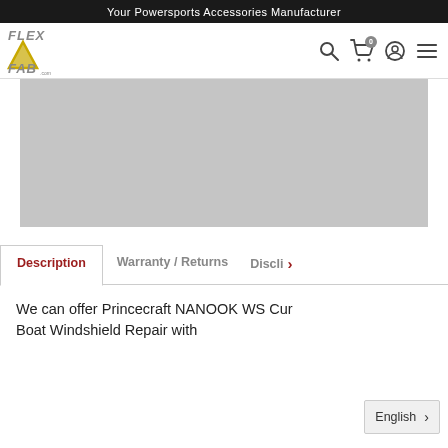Your Powersports Accessories Manufacturer
[Figure (logo): FLEX-A-FAB.com logo with stylized text and yellow/gold letter A]
[Figure (photo): Grey product image placeholder]
Description | Warranty / Returns | Discli >
We can offer Princecraft NANOOK WS Cur Boat Windshield Repair with